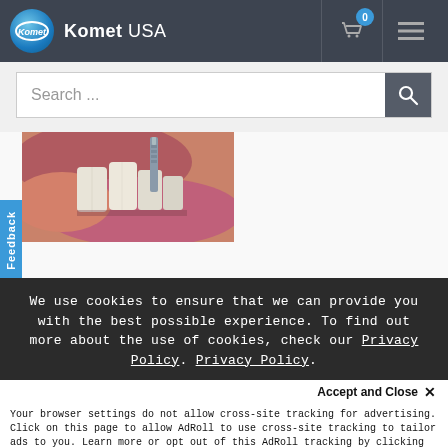Komet USA
Search ...
[Figure (photo): Close-up dental photo showing teeth and gums with a dental tool/implant being applied]
Feedback
We use cookies to ensure that we can provide you with the best possible experience. To find out more about the use of cookies, check our Privacy Policy. Privacy Policy.
Accept and Close ✕
Your browser settings do not allow cross-site tracking for advertising. Click on this page to allow AdRoll to use cross-site tracking to tailor ads to you. Learn more or opt out of this AdRoll tracking by clicking here. This message only appears once.